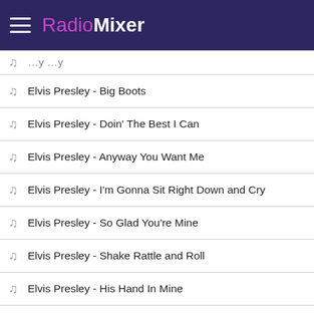RadioMixer
Elvis Presley - Big Boots
Elvis Presley - Doin' The Best I Can
Elvis Presley - Anyway You Want Me
Elvis Presley - I'm Gonna Sit Right Down and Cry
Elvis Presley - So Glad You're Mine
Elvis Presley - Shake Rattle and Roll
Elvis Presley - His Hand In Mine
Elvis Presley - I'm Gonna Walk Dem Golden Stai
Elvis Presley - Milky White Way